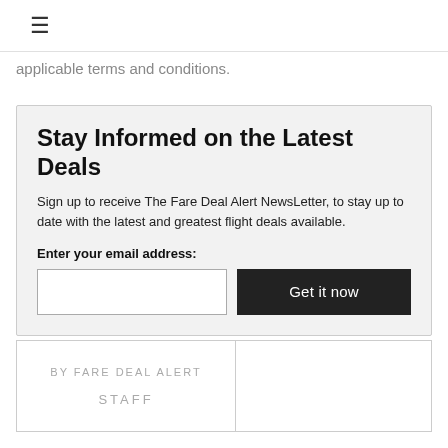≡
applicable terms and conditions.
Stay Informed on the Latest Deals
Sign up to receive The Fare Deal Alert NewsLetter, to stay up to date with the latest and greatest flight deals available.
Enter your email address:
Get it now
BY FARE DEAL ALERT
STAFF